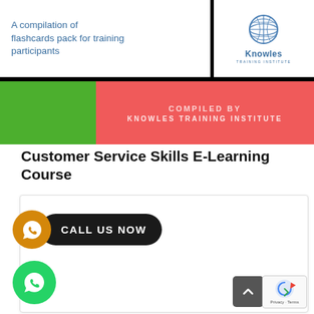[Figure (illustration): Knowles Training Institute flashcard pack cover image. Top-left white panel with blue text: 'A compilation of flashcards pack for training participants'. Top-right white panel with globe logo and 'Knowles Training Institute'. Bottom-left green block. Bottom-right coral/salmon red block with white text 'COMPILED BY KNOWLES TRAINING INSTITUTE'.]
Customer Service Skills E-Learning Course
[Figure (infographic): White card area with 'CALL US NOW' pill-shaped black button featuring an orange WhatsApp icon on the left, and a green WhatsApp circle icon below. Also shows a grey scroll-to-top arrow button and a reCAPTCHA badge with Privacy/Terms text.]